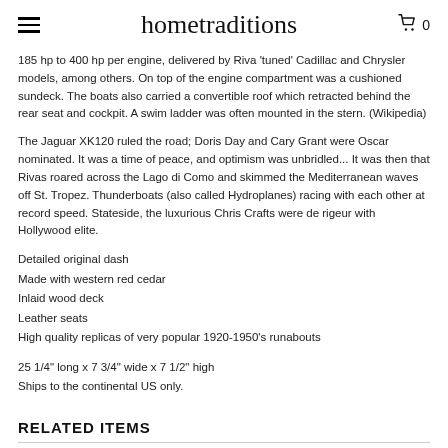hometraditions — cart: 0
185 hp to 400 hp per engine, delivered by Riva 'tuned' Cadillac and Chrysler models, among others. On top of the engine compartment was a cushioned sundeck. The boats also carried a convertible roof which retracted behind the rear seat and cockpit. A swim ladder was often mounted in the stern. (Wikipedia)
The Jaguar XK120 ruled the road; Doris Day and Cary Grant were Oscar nominated. It was a time of peace, and optimism was unbridled... It was then that Rivas roared across the Lago di Como and skimmed the Mediterranean waves off St. Tropez. Thunderboats (also called Hydroplanes) racing with each other at record speed. Stateside, the luxurious Chris Crafts were de rigeur with Hollywood elite.
Detailed original dash
Made with western red cedar
Inlaid wood deck
Leather seats
High quality replicas of very popular 1920-1950's runabouts
25 1/4" long x 7 3/4" wide x 7 1/2" high
Ships to the continental US only.
RELATED ITEMS
18TH CENTURY   LEWIS AND   SEXTANT IN CASE   WWII COMPASS